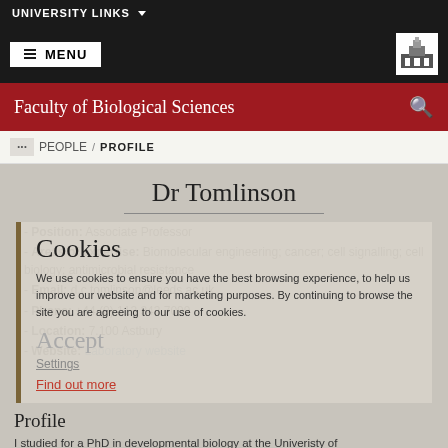UNIVERSITY LINKS
MENU
Faculty of Biological Sciences
PEOPLE / PROFILE
Dr Tomlinson
Cookies
We use cookies to ensure you have the best browsing experience, to help us improve our website and for marketing purposes. By continuing to browse the site you are agreeing to our use of cookies.
Accept
Settings
Find out more
Position: Associate Professor
Areas of expertise: Biomolecular engineering; cancer; cell signalling; cell biology; antimicrobial resistance
Email: d.c.tomlinson@leeds.ac.uk
Phone: +44 (0) 113 343 7099
Location: 7.100 Astbury
Website: Laboratory website
Profile
I studied for a PhD in developmental biology at the Univeristy of